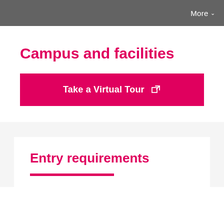More
Campus and facilities
Take a Virtual Tour
Entry requirements